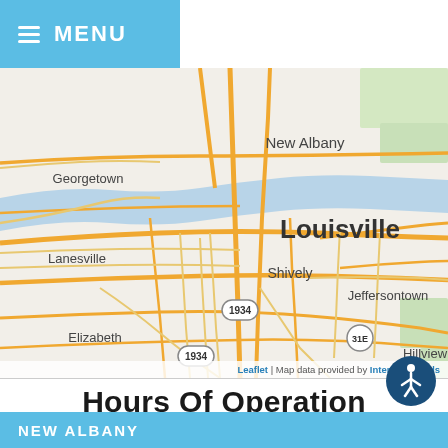≡ MENU
[Figure (map): Street map showing the Louisville, Kentucky area including New Albany, Georgetown, Lanesville, Shively, Jeffersontown, Elizabeth, Hillview, and Mount areas. Roads shown in orange/yellow on a light beige background. A map marker is visible near the center-right of the map. Route markers 1934 and 31E are visible. Attribution: Leaflet | Map data provided by Internet Brands.]
Hours Of Operation
Our Regular Schedule
NEW ALBANY